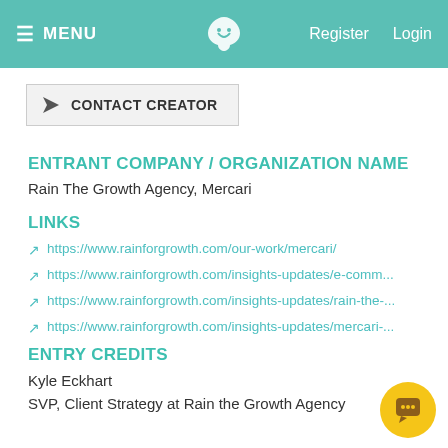MENU  Register  Login
CONTACT CREATOR
ENTRANT COMPANY / ORGANIZATION NAME
Rain The Growth Agency, Mercari
LINKS
https://www.rainforgrowth.com/our-work/mercari/
https://www.rainforgrowth.com/insights-updates/e-comm...
https://www.rainforgrowth.com/insights-updates/rain-the-...
https://www.rainforgrowth.com/insights-updates/mercari-...
ENTRY CREDITS
Kyle Eckhart
SVP, Client Strategy at Rain the Growth Agency